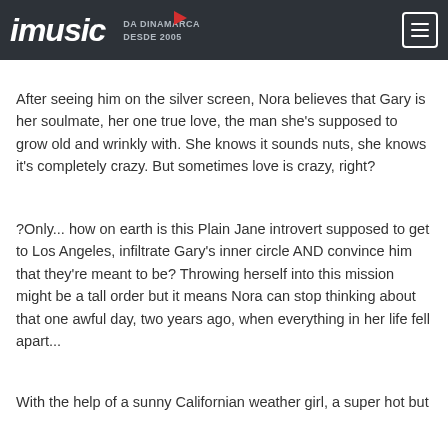imusic DA DINAMARCA DESDE 2005
After seeing him on the silver screen, Nora believes that Gary is her soulmate, her one true love, the man she's supposed to grow old and wrinkly with. She knows it sounds nuts, she knows it's completely crazy. But sometimes love is crazy, right?
?Only... how on earth is this Plain Jane introvert supposed to get to Los Angeles, infiltrate Gary's inner circle AND convince him that they're meant to be? Throwing herself into this mission might be a tall order but it means Nora can stop thinking about that one awful day, two years ago, when everything in her life fell apart...
With the help of a sunny Californian weather girl, a super hot but